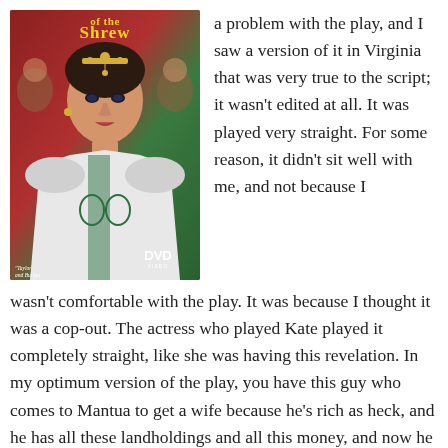[Figure (photo): Movie DVD cover for 'The Taming of the Shrew' featuring a woman in Renaissance costume with ornate headpiece, against a red and green background. Includes a DVD logo and quote 'Taylor and Burton at their comedic best!']
a problem with the play, and I saw a version of it in Virginia that was very true to the script; it wasn't edited at all. It was played very straight. For some reason, it didn't sit well with me, and not because I wasn't comfortable with the play. It was because I thought it was a cop-out. The actress who played Kate played it completely straight, like she was having this revelation. In my optimum version of the play, you have this guy who comes to Mantua to get a wife because he's rich as heck, and he has all these landholdings and all this money, and now he wants to accumulate more wealth for